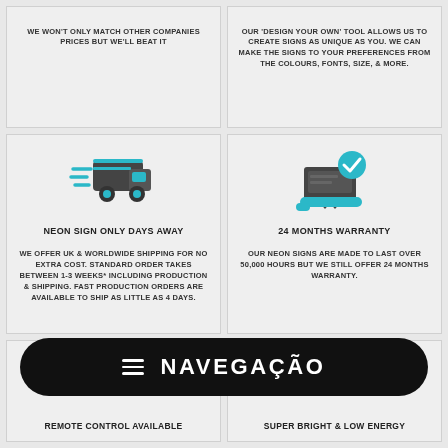WE WON'T ONLY MATCH OTHER COMPANIES PRICES BUT WE'LL BEAT IT
OUR 'DESIGN YOUR OWN' TOOL ALLOWS US TO CREATE SIGNS AS UNIQUE AS YOU. WE CAN MAKE THE SIGNS TO YOUR PREFERENCES FROM THE COLOURS, FONTS, SIZE, & MORE.
[Figure (illustration): Fast delivery truck icon in teal/dark gray]
NEON SIGN ONLY DAYS AWAY
WE OFFER UK & WORLDWIDE SHIPPING FOR NO EXTRA COST. STANDARD ORDER TAKES BETWEEN 1-3 WEEKS* INCLUDING PRODUCTION & SHIPPING. FAST PRODUCTION ORDERS ARE AVAILABLE TO SHIP AS LITTLE AS 4 DAYS.
[Figure (illustration): Warranty/certificate with checkmark icon in teal/dark gray]
24 MONTHS WARRANTY
OUR NEON SIGNS ARE MADE TO LAST OVER 50,000 HOURS BUT WE STILL OFFER 24 MONTHS WARRANTY.
[Figure (illustration): Remote control icon in teal/dark gray (partially visible)]
REMOTE CONTROL AVAILABLE
[Figure (illustration): Energy/lightning bolt icon in teal (partially visible)]
SUPER BRIGHT & LOW ENERGY
NAVEGAÇÃO